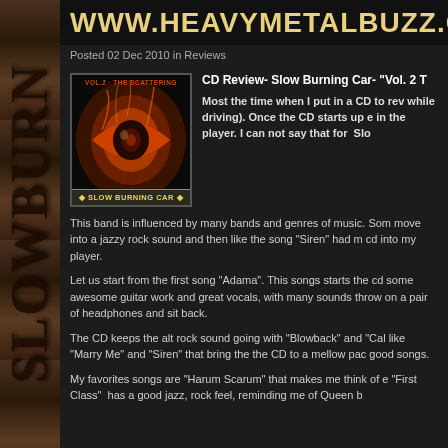WWW.HEAVYMETALBUZZ.CO
Posted 02 Dec 2010 in Reviews
[Figure (photo): Album cover for Slow Burning Car Vol. 2 - The Scattering, showing a fiery eye on dark background]
CD Review- Slow Burning Car- "Vol. 2 T
Most the time when I put in a CD to rev while driving). Once the CD starts up e in the player. I can not say that for  Slo
This band is influenced by many bands and genres of music. Som move into a jazzy rock sound and then like the song "Siren" had m cd into my player.
Let us start from the first song "Adama". This songs starts the cd some awesome guitar work and great vocals, with many sounds throw on a pair of headphones and sit back.
The CD keeps the alt rock sound going with "Blowback" and "Cal like "Marry Me" and "Siren" that bring the the CD to a mellow pac good songs.
My favorites songs are "Harum Scarum" that makes me think of e "First Class"  has a good jazz, rock feel, reminding me of Queen b